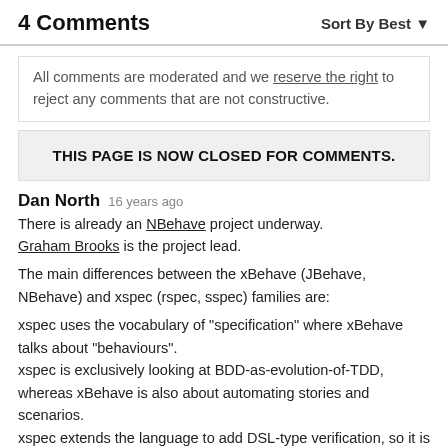4 Comments   Sort By Best
All comments are moderated and we reserve the right to reject any comments that are not constructive.
THIS PAGE IS NOW CLOSED FOR COMMENTS.
Dan North  16 years ago
There is already an NBehave project underway. Graham Brooks is the project lead.

The main differences between the xBehave (JBehave, NBehave) and xspec (rspec, sspec) families are:

xspec uses the vocabulary of "specification" where xBehave talks about "behaviours".
xspec is exclusively looking at BDD-as-evolution-of-TDD, whereas xBehave is also about automating stories and scenarios.
xspec extends the language to add DSL-type verification, so it is well-suited to dynamic languages (Ruby and Smalltalk are the current target platforms)